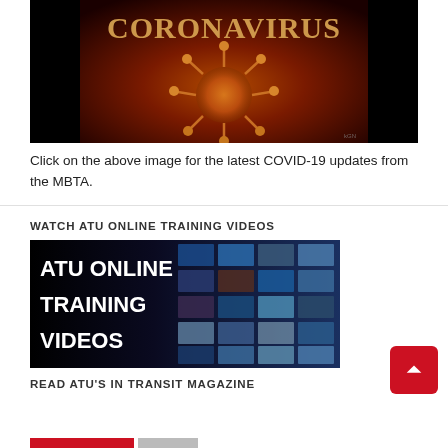[Figure (photo): Coronavirus virus particle image with golden glow on dark red background, with 'CORONAVIRUS' text overlay in large serif font]
Click on the above image for the latest COVID-19 updates from the MBTA.
WATCH ATU ONLINE TRAINING VIDEOS
[Figure (photo): ATU Online Training Videos promotional banner with white bold text on left, wall of TV screens on right in dark blue tones]
READ ATU'S IN TRANSIT MAGAZINE